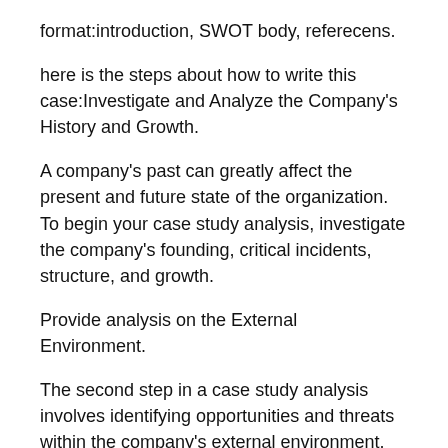format:introduction, SWOT body, referecens.
here is the steps about how to write this case:Investigate and Analyze the Company's History and Growth.
A company's past can greatly affect the present and future state of the organization. To begin your case study analysis, investigate the company's founding, critical incidents, structure, and growth.
Provide analysis on the External Environment.
The second step in a case study analysis involves identifying opportunities and threats within the company's external environment. Special items to note include competition within the industry, bargaining powers, and the threat of substitute